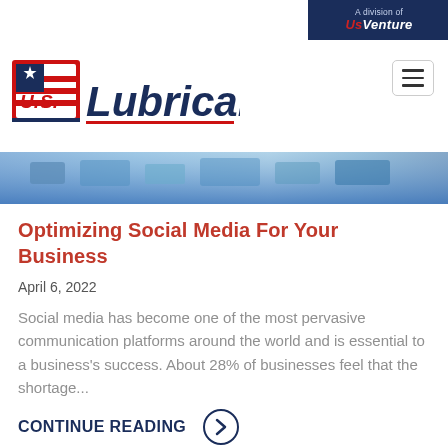A division of US Venture
[Figure (logo): U.S. Lubricants logo in red, white and blue with star]
[Figure (photo): Blue technology/social media themed banner image strip]
Optimizing Social Media For Your Business
April 6, 2022
Social media has become one of the most pervasive communication platforms around the world and is essential to a business's success. About 28% of businesses feel that the shortage...
CONTINUE READING